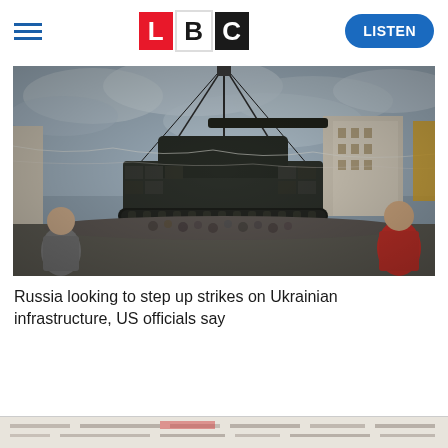LBC | LISTEN
[Figure (photo): A military tank being lifted by a crane on a city street, with crowds of people gathered around watching. Two men are visible in the foreground, one on the left in a grey shirt and one on the right in a red shirt. Buildings are visible in the background under a cloudy sky.]
Russia looking to step up strikes on Ukrainian infrastructure, US officials say
[Figure (screenshot): Partial view of a document or webpage at the bottom of the page, mostly cut off.]